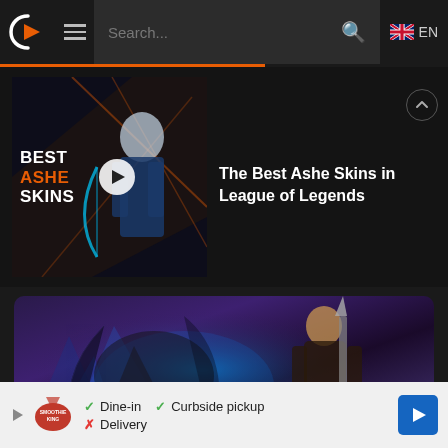Search... EN
[Figure (screenshot): Video thumbnail showing League of Legends Ashe character with text overlay: BEST ASHE SKINS, with a play button]
The Best Ashe Skins in League of Legends
[Figure (photo): League of Legends game artwork showing armored character with glowing blue ice effects and another warrior character]
Dine-in  Curbside pickup  Delivery